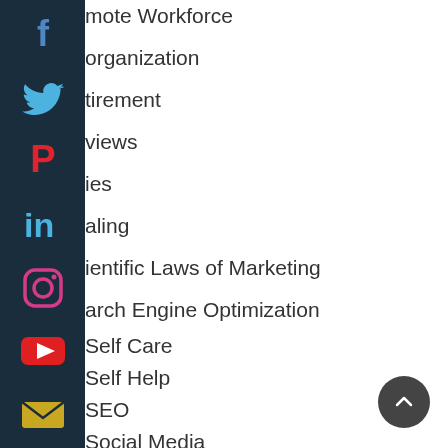[Figure (infographic): Dark navy social media sidebar with icons for Facebook, Twitter, Pinterest, LinkedIn, Instagram, YouTube, and Email]
Remote Workforce
organization
tirement
views
ies
aling
ientific Laws of Marketing
arch Engine Optimization
Self Care
Self Help
SEO
Social Media
Staffing